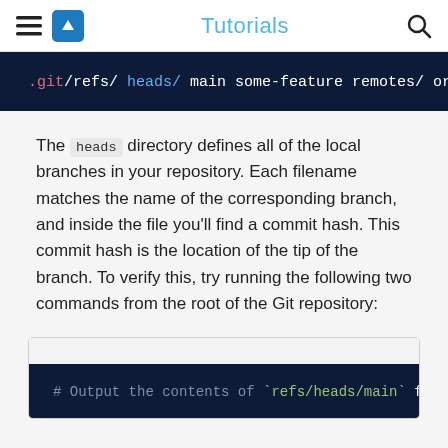Tutorials
[Figure (screenshot): Dark navy code block showing: .git/refs/ heads/ main some-feature remotes/ ori (truncated)]
The heads directory defines all of the local branches in your repository. Each filename matches the name of the corresponding branch, and inside the file you'll find a commit hash. This commit hash is the location of the tip of the branch. To verify this, try running the following two commands from the root of the Git repository:
[Figure (screenshot): Dark navy code block showing: # Output the contents of `refs/heads/main` file: (truncated)]